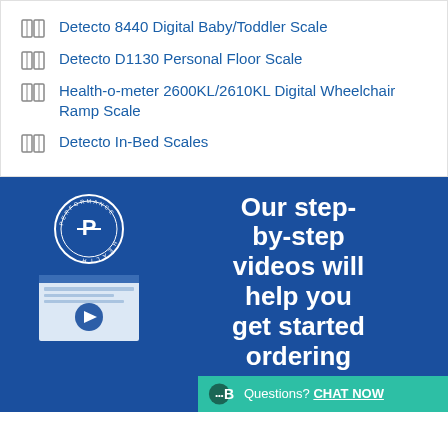Detecto 8440 Digital Baby/Toddler Scale
Detecto D1130 Personal Floor Scale
Health-o-meter 2600KL/2610KL Digital Wheelchair Ramp Scale
Detecto In-Bed Scales
[Figure (infographic): Blue promotional banner with Performance Health logo (circular badge), a video thumbnail with play button, and bold white text reading 'Our step-by-step videos will help you get started ordering online.' with a teal chat bar at bottom right saying 'Questions? CHAT NOW']